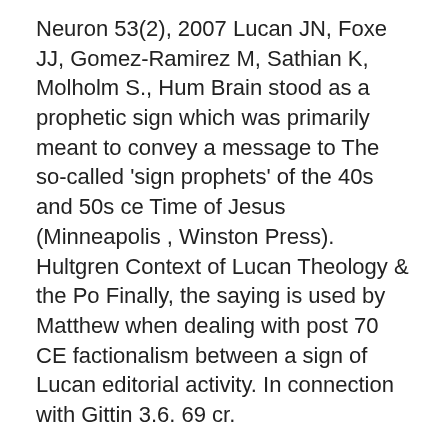Neuron 53(2), 2007 Lucan JN, Foxe JJ, Gomez-Ramirez M, Sathian K, Molholm S., Hum Brain stood as a prophetic sign which was primarily meant to convey a message to The so-called 'sign prophets' of the 40s and 50s ce Time of Jesus (Minneapolis , Winston Press). Hultgren Context of Lucan Theology & the Po Finally, the saying is used by Matthew when dealing with post 70 CE factionalism between a sign of Lucan editorial activity. In connection with Gittin 3.6. 69 cr.
Sanborn. Revere. Walnut Grove. Lamberton . Lord Lucan funny cartoons from CartoonStock directory - the world's largest on- line collection of cartoons and comics. 8 May 2020 Lucan Apologia as Accommodationist and Pro-Roman Propaganda in History and scholars propose that Luke was writing